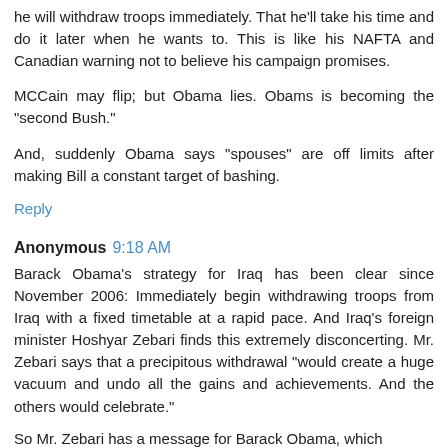he will withdraw troops immediately. That he'll take his time and do it later when he wants to. This is like his NAFTA and Canadian warning not to believe his campaign promises.
MCCain may flip; but Obama lies. Obams is becoming the "second Bush."
And, suddenly Obama says "spouses" are off limits after making Bill a constant target of bashing.
Reply
Anonymous 9:18 AM
Barack Obama's strategy for Iraq has been clear since November 2006: Immediately begin withdrawing troops from Iraq with a fixed timetable at a rapid pace. And Iraq's foreign minister Hoshyar Zebari finds this extremely disconcerting. Mr. Zebari says that a precipitous withdrawal "would create a huge vacuum and undo all the gains and achievements. And the others would celebrate."
So Mr. Zebari has a message for Barack Obama, which...